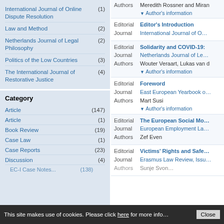International Journal of Online Dispute Resolution (1)
Law and Method (2)
Netherlands Journal of Legal Philosophy (2)
Politics of the Low Countries (3)
The International Journal of Restorative Justice (4)
Category
Article (147)
Article (1)
Book Review (19)
Case Law (1)
Case Reports (23)
Discussion (4)
Editorial | Editor's Introduction | Journal: International Journal of On... | Authors: Meredith Rossner and Miran... | Author's information
Editorial | Solidarity and COVID-19... | Journal: Netherlands Journal of Leg... | Authors: Wouter Veraart, Lukas van d... | Author's information
Editorial | Foreword | Journal: East European Yearbook o... | Authors: Mart Susi | Author's information
Editorial | The European Social Mo... | Journal: European Employment La... | Authors: Zef Even
Editorial | Victims' Rights and Safe... | Journal: Erasmus Law Review, Issu... | Authors: Sunje Svon...
This site makes use of cookies. Please click here for more info... Close